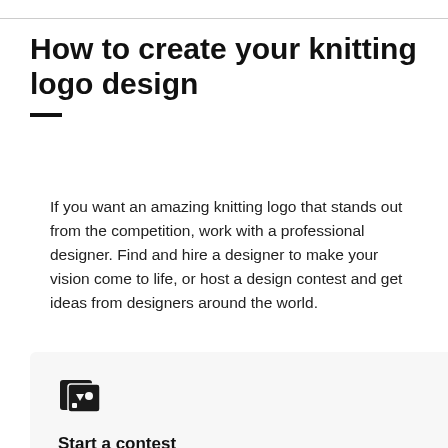How to create your knitting logo design
If you want an amazing knitting logo that stands out from the competition, work with a professional designer. Find and hire a designer to make your vision come to life, or host a design contest and get ideas from designers around the world.
Start a contest
Designers from around the